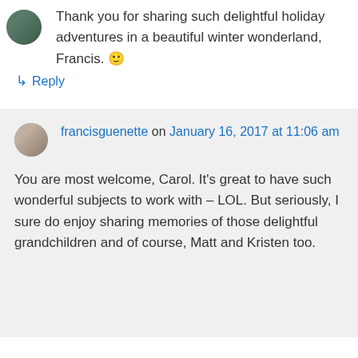[Figure (photo): Small circular avatar photo of a person, partially visible at top]
Thank you for sharing such delightful holiday adventures in a beautiful winter wonderland, Francis. 🙂
↳ Reply
[Figure (photo): Small circular avatar photo of francisguenette]
francisguenette on January 16, 2017 at 11:06 am
You are most welcome, Carol. It's great to have such wonderful subjects to work with – LOL. But seriously, I sure do enjoy sharing memories of those delightful grandchildren and of course, Matt and Kristen too.